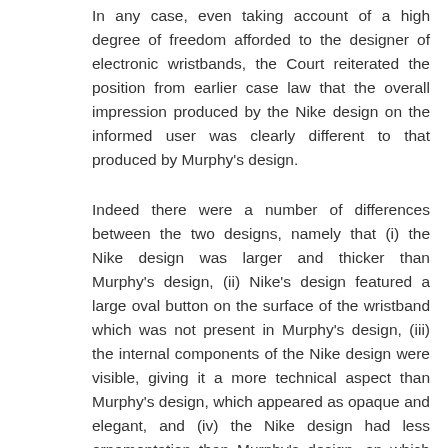In any case, even taking account of a high degree of freedom afforded to the designer of electronic wristbands, the Court reiterated the position from earlier case law that the overall impression produced by the Nike design on the informed user was clearly different to that produced by Murphy's design.
Indeed there were a number of differences between the two designs, namely that (i) the Nike design was larger and thicker than Murphy's design, (ii) Nike's design featured a large oval button on the surface of the wristband which was not present in Murphy's design, (iii) the internal components of the Nike design were visible, giving it a more technical aspect than Murphy's design, which appeared as opaque and elegant, and (iv) the Nike design had less ornamentation than Murphy's design, on which the image of a diver and a line running along the